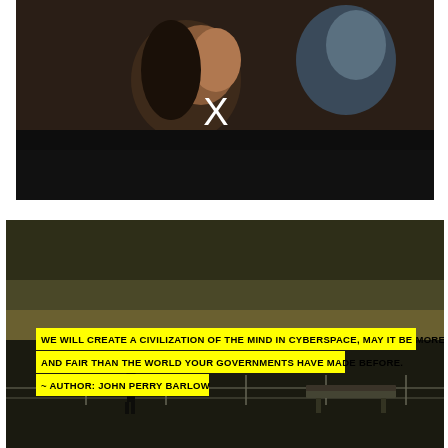[Figure (photo): Dark cinematic photo of a woman in profile watching something, with a white X symbol overlaid. Other audience members visible in background.]
[Figure (photo): Dark atmospheric photo of a solitary figure standing on a pier or boardwalk at dusk, with a bench visible. Overlaid yellow-highlighted text quote by John Perry Barlow about cyberspace civilization.]